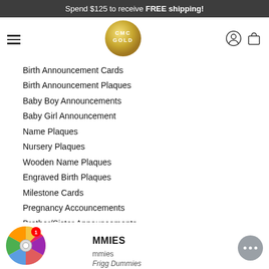Spend $125 to receive FREE shipping!
[Figure (logo): CMC GOLD circular gold logo with hamburger menu and user/cart icons in header]
Birth Announcement Cards
Birth Announcement Plaques
Baby Boy Announcements
Baby Girl Announcement
Name Plaques
Nursery Plaques
Wooden Name Plaques
Engraved Birth Plaques
Milestone Cards
Pregnancy Accouncements
Brother/Sister Announcements
Hello Word Plaques
[Figure (illustration): Spin-the-wheel widget with colorful segments and badge showing 1, with text DUMMIES, Dummies, Frigo Dummies partially visible]
[Figure (other): Chat button (grey circle with ellipsis) in bottom right corner]